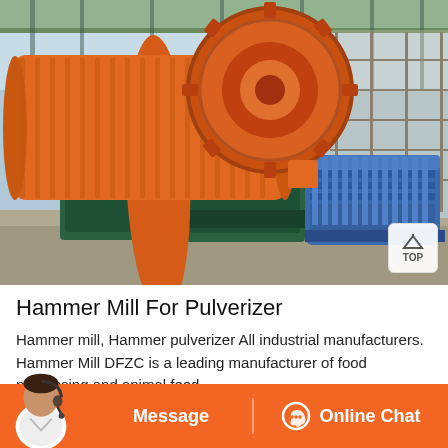[Figure (photo): Industrial ball mill machinery with large orange cylindrical drum, a prominent orange gear wheel, green gearbox drive units, and large blue electric motors on concrete foundations inside a facility with scaffold and green mesh roof structure.]
Hammer Mill For Pulverizer
Hammer mill, Hammer pulverizer All industrial manufacturers. Hammer Mill DFZC is a leading manufacturer of food processing and animal feed